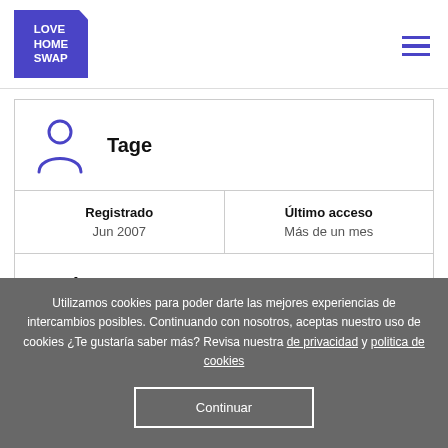[Figure (logo): Love Home Swap logo - blue pentagon shape with white text]
[Figure (illustration): Hamburger menu icon - three horizontal blue lines]
[Figure (illustration): Blue outline person/user silhouette icon]
Tage
| Registrado | Último acceso |
| --- | --- |
| Jun 2007 | Más de un mes |
¿Quieres ponerte en contacto con este
Utilizamos cookies para poder darte las mejores experiencias de intercambios posibles. Continuando con nosotros, aceptas nuestro uso de cookies ¿Te gustaría saber más? Revisa nuestra de privacidad y politica de cookies